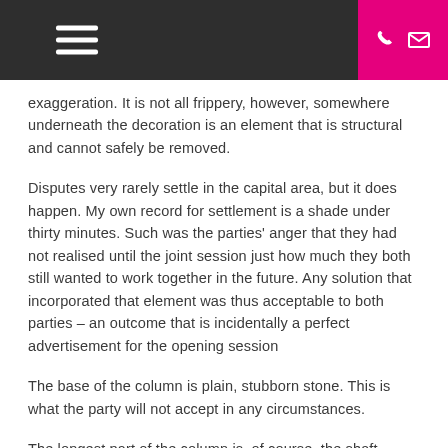[Navigation bar with hamburger menu and phone/mail icons]
exaggeration. It is not all frippery, however, somewhere underneath the decoration is an element that is structural and cannot safely be removed.
Disputes very rarely settle in the capital area, but it does happen. My own record for settlement is a shade under thirty minutes. Such was the parties' anger that they had not realised until the joint session just how much they both still wanted to work together in the future. Any solution that incorporated that element was thus acceptable to both parties – an outcome that is incidentally a perfect advertisement for the opening session
The base of the column is plain, stubborn stone. This is what the party will not accept in any circumstances.
The longest part of the column is, of course, the shaft, which stands for the area of negotiation. The shaft tapers